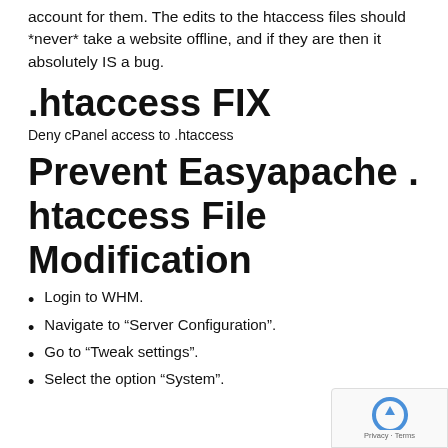account for them. The edits to the htaccess files should *never* take a website offline, and if they are then it absolutely IS a bug.
.htaccess FIX
Deny cPanel access to .htaccess
Prevent Easyapache . htaccess File Modification
Login to WHM.
Navigate to “Server Configuration”.
Go to “Tweak settings”.
Select the option “System”.